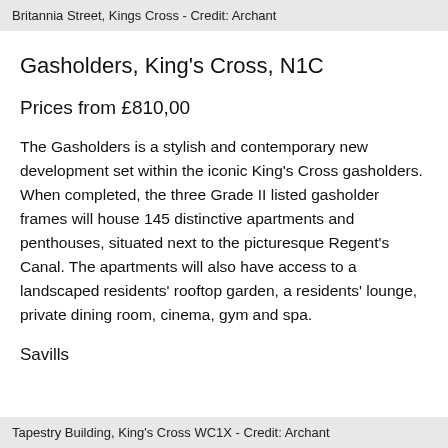Britannia Street, Kings Cross - Credit: Archant
Gasholders, King's Cross, N1C
Prices from £810,00
The Gasholders is a stylish and contemporary new development set within the iconic King's Cross gasholders. When completed, the three Grade II listed gasholder frames will house 145 distinctive apartments and penthouses, situated next to the picturesque Regent's Canal. The apartments will also have access to a landscaped residents' rooftop garden, a residents' lounge, private dining room, cinema, gym and spa.
Savills
Tapestry Building, King's Cross WC1X - Credit: Archant